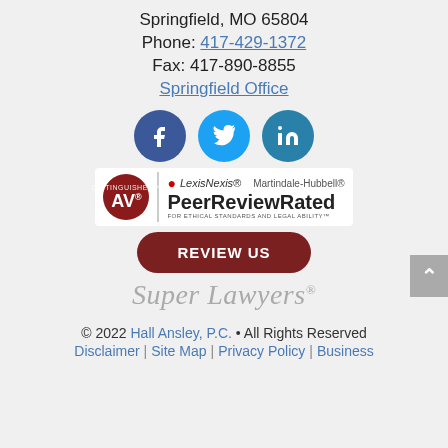Springfield, MO 65804
Phone: 417-429-1372
Fax: 417-890-8855
Springfield Office
[Figure (logo): Social media icons: Facebook, Twitter, LinkedIn]
[Figure (logo): AV Distinguished - LexisNexis Martindale-Hubbell Peer Review Rated badge]
[Figure (logo): REVIEW US button (dark red rounded rectangle)]
[Figure (logo): Super Lawyers logo in gray italic text]
© 2022 Hall Ansley, P.C. • All Rights Reserved Disclaimer | Site Map | Privacy Policy | Business
Disclaimer | Site Map | Privacy Policy | Business